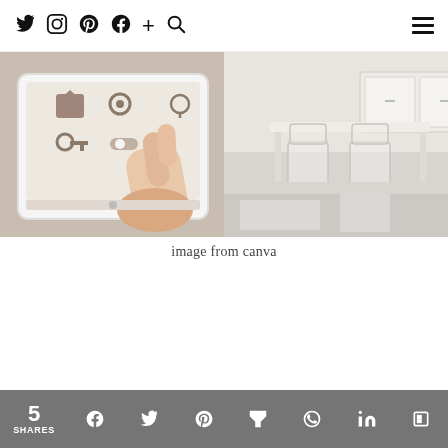Twitter Instagram Pinterest Facebook + Search | Menu
[Figure (photo): Split image: left side shows a hand pointing at a tablet displaying a smart home interface with house icons and controls; right side shows a modern bright kitchen with glass chairs and white cabinetry]
image from canva
5 SHARES | Facebook | Twitter | Pinterest | Mix | WhatsApp | LinkedIn | Flipboard